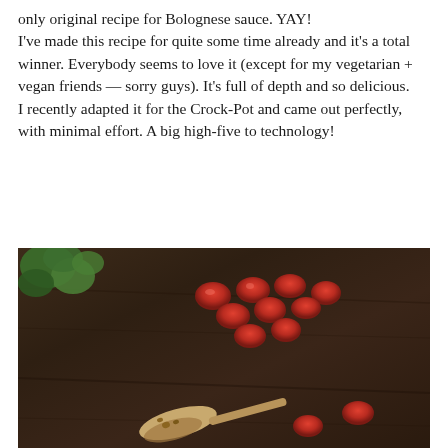only original recipe for Bolognese sauce. YAY!
I've made this recipe for quite some time already and it's a total winner. Everybody seems to love it (except for my vegetarian + vegan friends — sorry guys). It's full of depth and so delicious.
I recently adapted it for the Crock-Pot and came out perfectly, with minimal effort. A big high-five to technology!
[Figure (photo): Close-up photo of small red cherry tomatoes scattered on a dark wooden surface, with green herbs visible in the top-left corner and a wooden spoon at the bottom.]